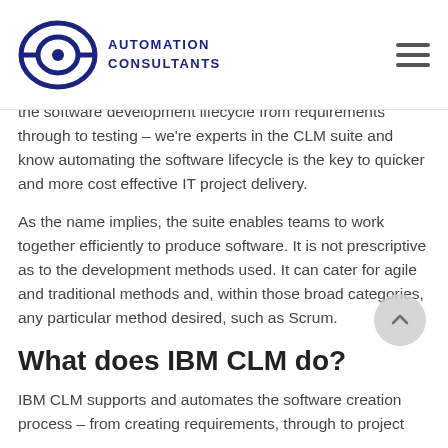AUTOMATION CONSULTANTS
the software development lifecycle from requirements through to testing – we're experts in the CLM suite and know automating the software lifecycle is the key to quicker and more cost effective IT project delivery.
As the name implies, the suite enables teams to work together efficiently to produce software. It is not prescriptive as to the development methods used. It can cater for agile and traditional methods and, within those broad categories, any particular method desired, such as Scrum.
What does IBM CLM do?
IBM CLM supports and automates the software creation process – from creating requirements, through to project